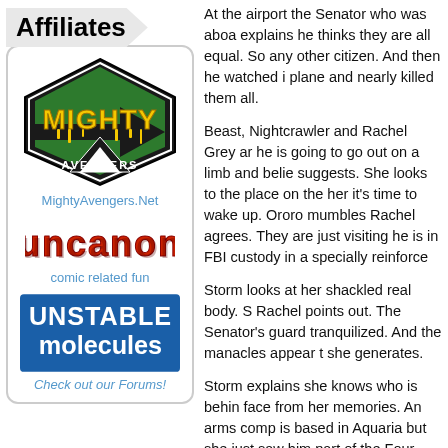Affiliates
[Figure (logo): Mighty Avengers logo - hexagon shape with green and black design, yellow text 'MIGHTY' with drips, 'AVENGERS' below]
MightyAvengers.Net
[Figure (logo): Uncanon logo - red 3D block letters]
comic related fun
[Figure (logo): Unstable Molecules logo - blue background with white block letters]
Check out our Forums!
At the airport the Senator who was aboard explains he thinks they are all equal. So any other citizen. And then he watched i plane and nearly killed them all.
Beast, Nightcrawler and Rachel Grey ar he is going to go out on a limb and belie suggests. She looks to the place on the her it's time to wake up. Ororo mumbles Rachel agrees. They are just visiting he is in FBI custody in a specially reinforce
Storm looks at her shackled real body. S Rachel points out. The Senator's guard tranquilized. And the manacles appear t she generates.
Storm explains she knows who is behin face from her memories. An arms comp is based in Aquaria but she just saw him part of the Four Clans syndicate. She di after her. Beast suggests that, as an arm